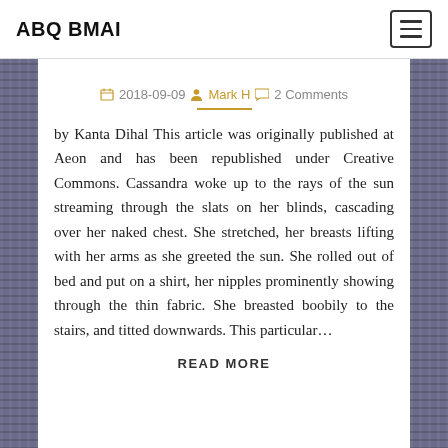ABQ BMAI
2018-09-09  Mark H  2 Comments
by Kanta Dihal This article was originally published at Aeon and has been republished under Creative Commons. Cassandra woke up to the rays of the sun streaming through the slats on her blinds, cascading over her naked chest. She stretched, her breasts lifting with her arms as she greeted the sun. She rolled out of bed and put on a shirt, her nipples prominently showing through the thin fabric. She breasted boobily to the stairs, and titted downwards. This particular…
READ MORE